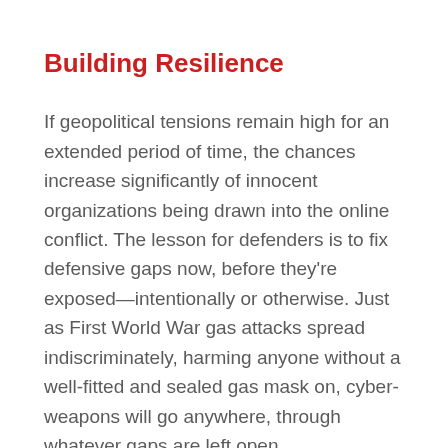Building Resilience
If geopolitical tensions remain high for an extended period of time, the chances increase significantly of innocent organizations being drawn into the online conflict. The lesson for defenders is to fix defensive gaps now, before they’re exposed—intentionally or otherwise. Just as First World War gas attacks spread indiscriminately, harming anyone without a well-fitted and sealed gas mask on, cyber-weapons will go anywhere, through whatever gaps are left open.
Finding these vulnerabilities and